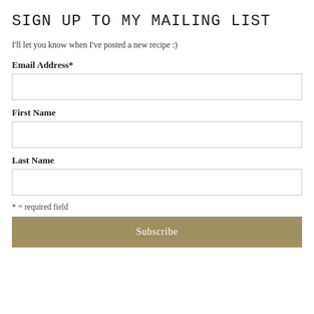SIGN UP TO MY MAILING LIST
I'll let you know when I've posted a new recipe :)
Email Address*
First Name
Last Name
* = required field
Subscribe